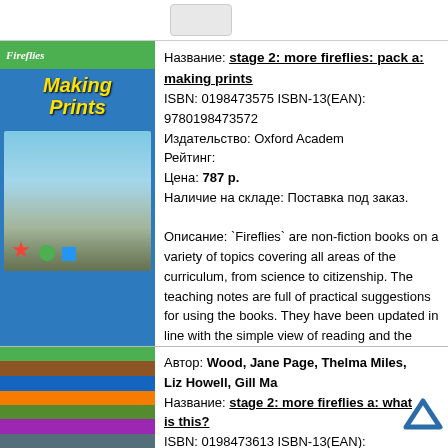[Figure (illustration): Book cover: Making Prints, Fireflies series. Shows three children around a table with colored shapes (star, circle, square). Green Fireflies logo bar at top.]
Название: stage 2: more fireflies: pack a: making prints
ISBN: 0198473575 ISBN-13(EAN): 9780198473572
Издательство: Oxford Academ
Рейтинг:
Цена: 787 р.
Наличие на складе: Поставка под заказ.

Описание: `Fireflies` are non-fiction books on a variety of topics covering all areas of the curriculum, from science to citizenship. The teaching notes are full of practical suggestions for using the books. They have been updated in line with the simple view of reading and the renewed Primary Framework for Literacy.
[Figure (illustration): Book cover: stage 2 more fireflies a, partially visible. Multi-colored horizontal stripes.]
Автор: Wood, Jane Page, Thelma Miles, Liz Howell, Gill Ma
Название: stage 2: more fireflies a: what is this?
ISBN: 0198473613 ISBN-13(EAN): 9780198473619
Издательство: Oxford Academ